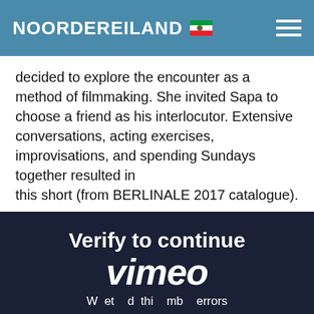NOORDEREILAND
decided to explore the encounter as a method of filmmaking. She invited Sapa to choose a friend as his interlocutor. Extensive conversations, acting exercises, improvisations, and spending Sundays together resulted in this short (from BERLINALE 2017 catalogue).
[Figure (screenshot): Vimeo 'Verify to continue' screen with dark navy background showing 'Verify to continue' heading, Vimeo logo, and text 'We detected unusual errors from your connection. To continue, please confirm that you're a']